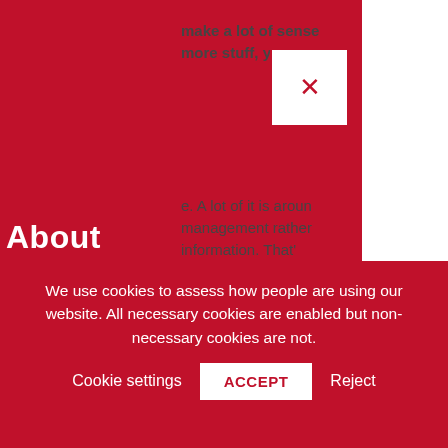[Figure (screenshot): Red navigation menu overlay with close button (X), menu items About, Solutions, Resources, Testimonials each with chevron dropdown indicators]
make a lot of sense
more stuff, you can
e. A lot of it is around management rather information. That'
About
Solutions
Resources
Testimonials
ng for that books to pay their VAT or th at manual effort an
uplicated effort. Th
We use cookies to assess how people are using our website. All necessary cookies are enabled but non-necessary cookies are not. Cookie settings ACCEPT Reject